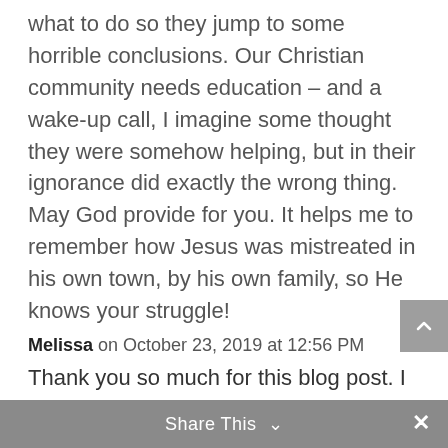what to do so they jump to some horrible conclusions. Our Christian community needs education – and a wake-up call, I imagine some thought they were somehow helping, but in their ignorance did exactly the wrong thing. May God provide for you. It helps me to remember how Jesus was mistreated in his own town, by his own family, so He knows your struggle!
Melissa on October 23, 2019 at 12:56 PM
Thank you so much for this blog post. I
Share This